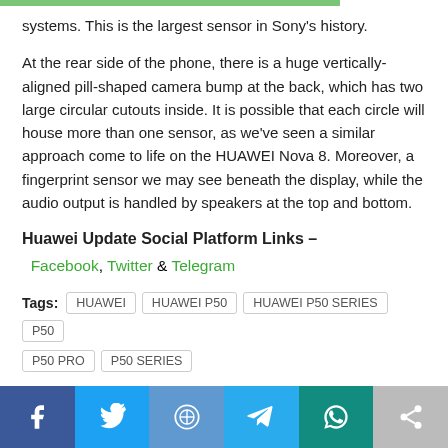systems. This is the largest sensor in Sony's history.
At the rear side of the phone, there is a huge vertically-aligned pill-shaped camera bump at the back, which has two large circular cutouts inside. It is possible that each circle will house more than one sensor, as we've seen a similar approach come to life on the HUAWEI Nova 8. Moreover, a fingerprint sensor we may see beneath the display, while the audio output is handled by speakers at the top and bottom.
Huawei Update Social Platform Links –
Facebook, Twitter & Telegram
Tags: HUAWEI  HUAWEI P50  HUAWEI P50 SERIES  P50  P50 PRO  P50 SERIES